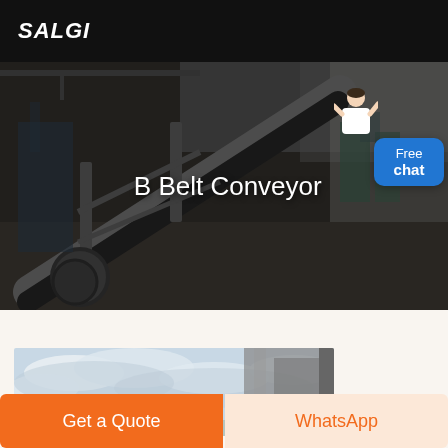SALGI
[Figure (photo): Industrial conveyor belt in a factory setting with steel frame and dark rubber belt, photographed at an angle showing the inclined structure and drive wheel]
B Belt Conveyor
[Figure (photo): Outdoor industrial structure photographed against a cloudy sky, showing a concrete or metal wall edge]
Get a Quote
WhatsApp